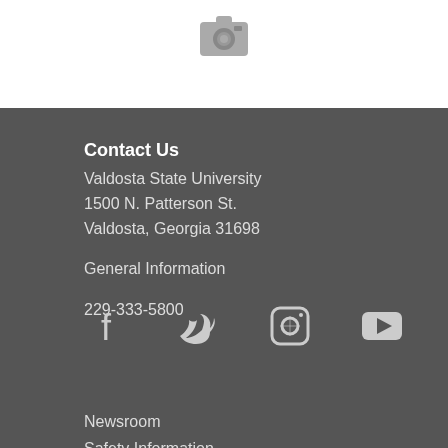[Figure (logo): Camera/Instagram icon in gray on white background]
Contact Us
Valdosta State University
1500 N. Patterson St.
Valdosta, Georgia 31698
General Information
229-333-5800
[Figure (infographic): Social media icons: Facebook, Twitter, Instagram, YouTube]
Newsroom
Safety Information
Employment